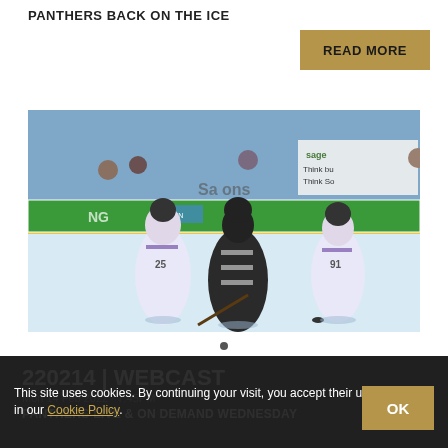PANTHERS BACK ON THE ICE
READ MORE
[Figure (photo): Ice hockey action photo showing three players on the rink — one in a black and white striped jersey (Panthers) with two opponents in white and purple jerseys, competing for the puck during a game.]
220214 | WEBCAST
Mon 14 Feb 2022 · 7:45PM
PANTHERS LIVE & ON DEMAND WEDNESDAY
This site uses cookies. By continuing your visit, you accept their use as set out in our Cookie Policy.
OK